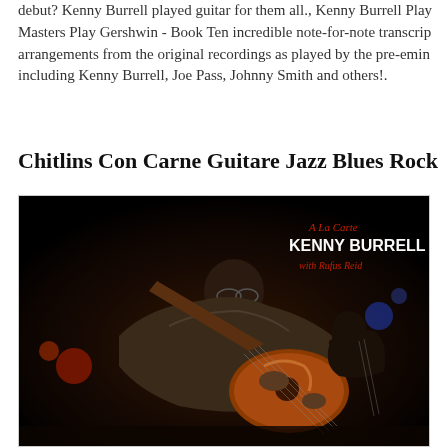debut? Kenny Burrell played guitar for them all., Kenny Burrell Play Masters Play Gershwin - Book Ten incredible note-for-note transcrip arrangements from the original recordings as played by the pre-emin including Kenny Burrell, Joe Pass, Johnny Smith and others!.
Chitlins Con Carne Guitare Jazz Blues Rock
[Figure (photo): Album cover photo for 'A La Carte' by Kenny Burrell with Rufus Reid. Shows a musician playing guitar on a dark stage, with text overlay reading 'A La Carte KENNY BURRELL with Rufus Reid' in white and red script.]